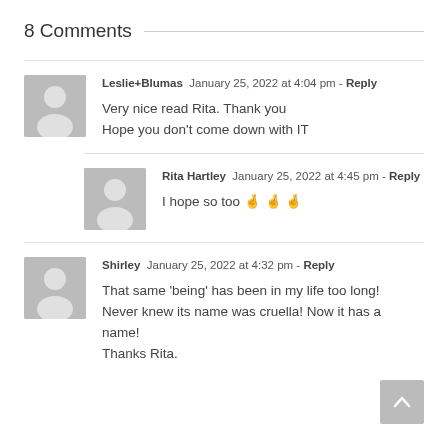8 Comments
Leslie+Blumas  January 25, 2022 at 4:04 pm - Reply
Very nice read Rita. Thank you
Hope you don't come down with IT
Rita Hartley  January 25, 2022 at 4:45 pm - Reply
I hope so too 🤞🤞🤞
Shirley  January 25, 2022 at 4:32 pm - Reply
That same 'being' has been in my life too long! Never knew its name was cruella! Now it has a name!
Thanks Rita.